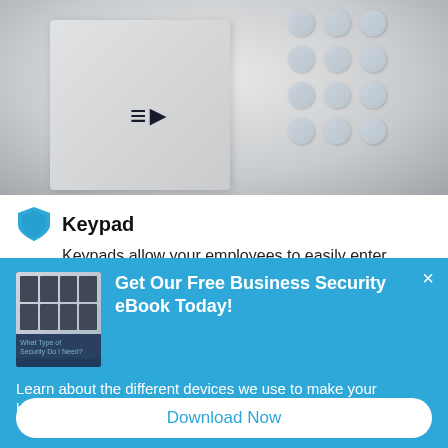[Figure (photo): Photograph of a DMP security keypad mounted on a wall, showing the DMP logo and circular keypad buttons in a blurred background setting.]
Keypad
Keypads allow your employees to easily enter
[Figure (screenshot): Blue popup overlay promoting a free Business Security eBook, with thumbnail image of security monitors, title 'Get Our Free Business Security eBook Today!', body text 'Learn about the different devices we use to make your business secure and give you peace of mind.', and a 'Download Now' button.]
Get Our Free Business Security eBook Today!
Learn about the different devices we use to make your business secure and give you peace of mind.
Download Now